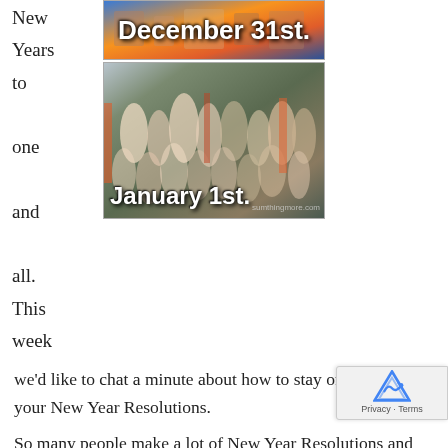New Years to one and all. This week
[Figure (photo): Two stacked gym photos: top image labeled 'December 31st.' showing an empty or lightly used gym; bottom image labeled 'January 1st.' showing a very crowded gym full of people exercising.]
we'd like to chat a minute about how to stay on track with your New Year Resolutions.
So many people make a lot of New Year Resolutions and can never seem to be able to keep them up. Most people make getting into better shape their number one New Year Resolutions and by the time March rolls around their frustrated with a lack of progre their not going to the gym as much and their